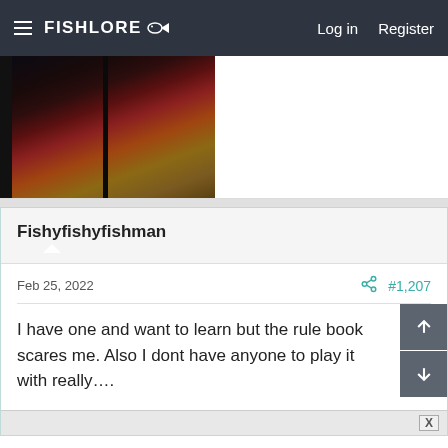FishLore  Log in  Register
[Figure (photo): Partial photo of aquarium or fish tank with dark frame and wooden background]
Fishyfishyfishman
Feb 25, 2022  #1,207
I have one and want to learn but the rule book scares me. Also I dont have anyone to play it with really….